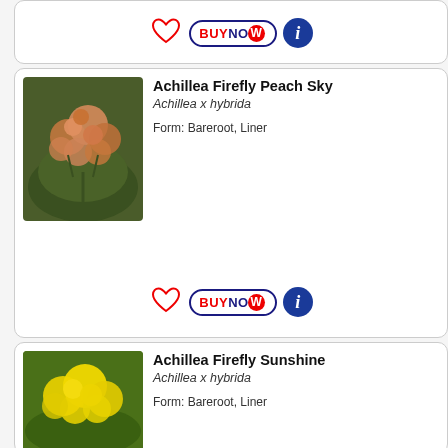[Figure (other): Partial product card top: heart icon, BuyNow button, info icon]
Achillea Firefly Peach Sky
Achillea x hybrida
Form: Bareroot, Liner
[Figure (photo): Photo of Achillea Firefly Peach Sky plant with peach/orange flowers]
[Figure (other): Action bar with heart icon, BuyNow button, and info icon for Achillea Firefly Peach Sky]
Achillea Firefly Sunshine
Achillea x hybrida
Form: Bareroot, Liner
[Figure (photo): Photo of Achillea Firefly Sunshine plant with bright yellow flowers]